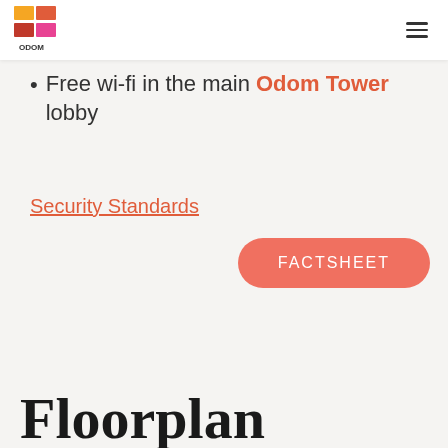Odom Tower logo and navigation
Free wi-fi in the main Odom Tower lobby
Security Standards
FACTSHEET
Floorplan